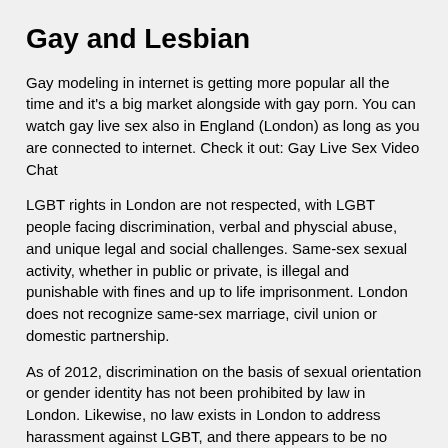Gay and Lesbian
Gay modeling in internet is getting more popular all the time and it's a big market alongside with gay porn. You can watch gay live sex also in England (London) as long as you are connected to internet. Check it out: Gay Live Sex Video Chat
LGBT rights in London are not respected, with LGBT people facing discrimination, verbal and physcial abuse, and unique legal and social challenges. Same-sex sexual activity, whether in public or private, is illegal and punishable with fines and up to life imprisonment. London does not recognize same-sex marriage, civil union or domestic partnership.
As of 2012, discrimination on the basis of sexual orientation or gender identity has not been prohibited by law in London. Likewise, no law exists in London to address harassment against LGBT, and there appears to be no organized movement to advance LGBT rights.